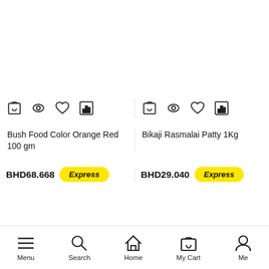[Figure (screenshot): E-commerce product listing showing two product cards with action icons (cart, eye, heart, bar-chart), product names, prices in BHD, and Express delivery badges. Bottom navigation bar with Menu, Search, Home, My Cart, Me icons.]
Bush Food Color Orange Red 100 gm
BHD68.668
Express
Bikaji Rasmalai Patty 1Kg
BHD29.040
Express
Menu  Search  Home  My Cart  Me